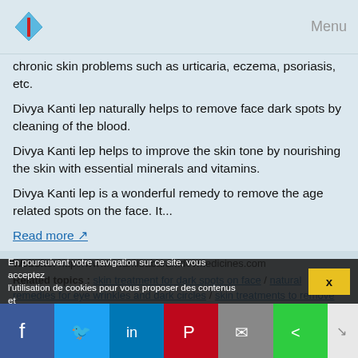Menu
chronic skin problems such as urticaria, eczema, psoriasis, etc.
Divya Kanti lep naturally helps to remove face dark spots by cleaning of the blood.
Divya Kanti lep helps to improve the skin tone by nourishing the skin with essential minerals and vitamins.
Divya Kanti lep is a wonderful remedy to remove the age related spots on the face. It...
Read more ↗
Website: http://www.swamibabaramdevmedicines.com
Related topics : skin treatment for dark spots on face / natural remedies for eye wrinkles and dark circles / skin treatments to remove acne scars / natural home remedies for wrinkles on face / natural skin products for acne
7 Best Self Treatments to Remove Forehead ...
En poursuivant votre navigation sur ce site, vous acceptez l'utilisation de cookies pour vous proposer des contenus et
X